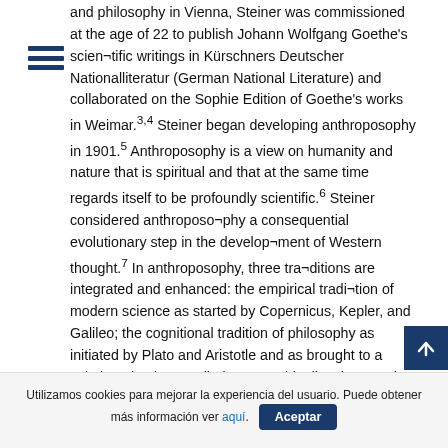and philosophy in Vienna, Steiner was commissioned at the age of 22 to publish Johann Wolfgang Goethe's scien¬tific writings in Kürschners Deutscher Nationalliteratur (German National Literature) and collaborated on the Sophie Edition of Goethe's works in Weimar.3,4 Steiner began developing anthroposophy in 1901.5 Anthroposophy is a view on humanity and nature that is spiritual and that at the same time regards itself to be profoundly scientific.6 Steiner considered anthroposo¬phy a consequential evolutionary step in the develop¬ment of Western thought.7 In anthroposophy, three tra¬ditions are integrated and enhanced: the empirical tradi¬tion of modern science as started by Copernicus, Kepler, and Galileo; the cognitional tradition of philosophy as initiated by Plato and Aristotle and as brought to a culmi¬nation in so-called German idealism by Hegel, Fichte, Schelling, Schiller and Goethe; and finally the esoteric tradition of Christianity spirituality. The possibility of this integration
Utilizamos cookies para mejorar la experiencia del usuario. Puede obtener más información ver aquí. Aceptar